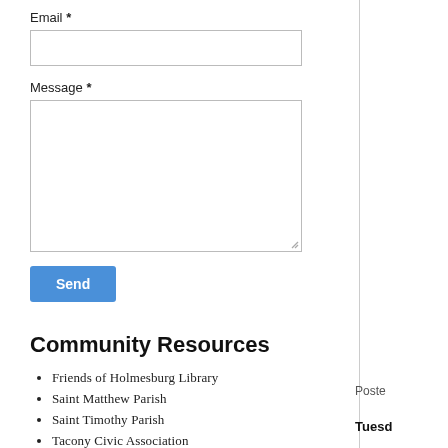Email *
Message *
Send
Community Resources
Friends of Holmesburg Library
Saint Matthew Parish
Saint Timothy Parish
Tacony Civic Association
Holmesburg Civic Association
Upper Holmesburg Civic Association
Mayfair Business Association
15th Police District
Poste
Tuesd